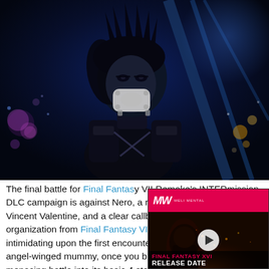[Figure (screenshot): Screenshot of a video game character — a dark-haired figure wearing a white mask/muzzle and dark armored outfit, set against a blue-tinted night environment with bokeh lights in the background. This appears to be from Final Fantasy VII Remake Intergrade.]
The final battle for Final Fantasy VII Remake's INTERmission DLC campaign is against Nero, a recurring antagonist to Vincent Valentine, and a clear callback to the Deepground organization from Final Fantasy VII: Dirge of Cerberus. As intimidating upon the first encounter as this psychopathic angel-winged mummy, once you break down this seemingly menacing battle into its basic 4 stages, it's actually rather easy so long as you know the secret, with the
[Figure (screenshot): Ad overlay for Final Fantasy XVI Release Date video — shows MW logo on red bar at top, dark fiery game screenshot with a play button, and text reading FINAL FANTASY XVI RELEASE DATE]